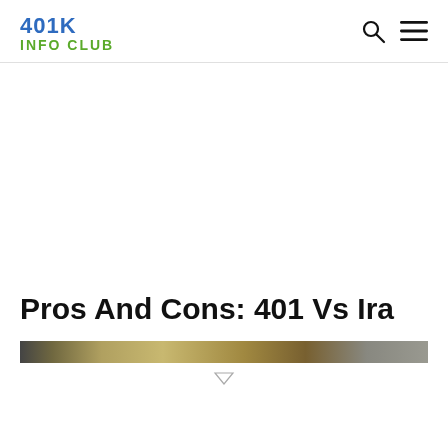401K INFO CLUB
Pros And Cons: 401 Vs Ira
[Figure (photo): Partial image strip visible at the bottom of the page, showing a blurred or cropped photograph related to the article topic.]